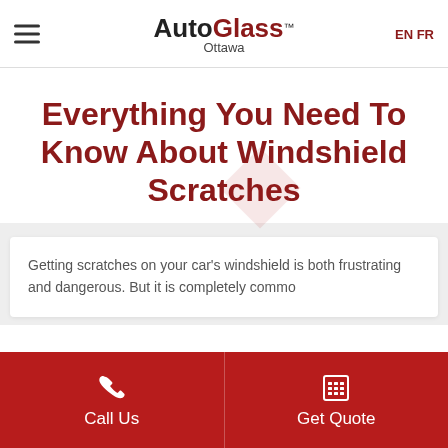AutoGlass Ottawa — EN FR
Everything You Need To Know About Windshield Scratches
Getting scratches on your car's windshield is both frustrating and dangerous. But it is completely common…
Call Us | Get Quote